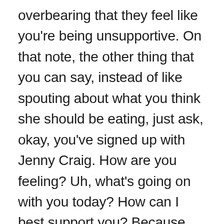overbearing that they feel like you're being unsupportive. On that note, the other thing that you can say, instead of like spouting about what you think she should be eating, just ask, okay, you've signed up with Jenny Craig. How are you feeling? Uh, what's going on with you today? How can I best support you? Because unlike that other person, we were just talking about the one that's like, just telling me what to eat. Clearly this client doesn't want you to tell her what to eat, so my question as a coach would be like, what do you want from me? How can I best support you in this journey? And listen, you know, they're going to tell you what they need. Maybe it's just someone to talk to and that time for the beginning t...